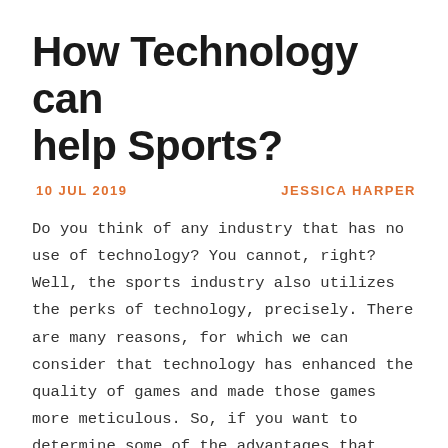How Technology can help Sports?
10 JUL 2019   JESSICA HARPER
Do you think of any industry that has no use of technology? You cannot, right? Well, the sports industry also utilizes the perks of technology, precisely. There are many reasons, for which we can consider that technology has enhanced the quality of games and made those games more meticulous. So, if you want to determine some of the advantages that technology has delivered to the sports industry, look nowhere else. We will present you with some of the benefits of technology that the sports industry is enjoying.
Instant replay